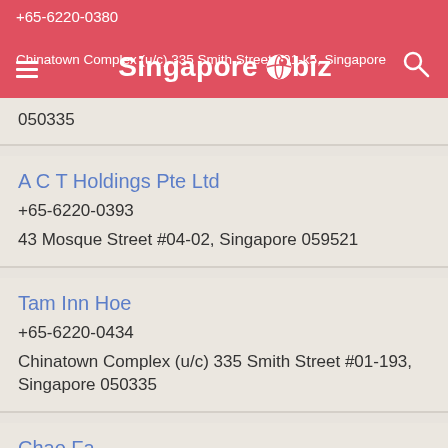Singapore.biz
+65-6220-0380
Chinatown Complex (u/c) 335 Smith Street #01-k5, Singapore 050335
A C T Holdings Pte Ltd
+65-6220-0393
43 Mosque Street #04-02, Singapore 059521
Tam Inn Hoe
+65-6220-0434
Chinatown Complex (u/c) 335 Smith Street #01-193, Singapore 050335
Chao Fa
+65-6220-0518